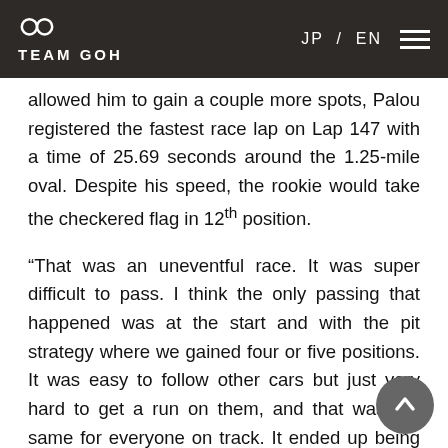TEAM GOH  JP / EN
allowed him to gain a couple more spots, Palou registered the fastest race lap on Lap 147 with a time of 25.69 seconds around the 1.25-mile oval. Despite his speed, the rookie would take the checkered flag in 12th position.
“That was an uneventful race. It was super difficult to pass. I think the only passing that happened was at the start and with the pit strategy where we gained four or five positions. It was easy to follow other cars but just very hard to get a run on them, and that was the same for everyone on track. It ended up being about strategy and trying to make that work in our favor. It’s a shame